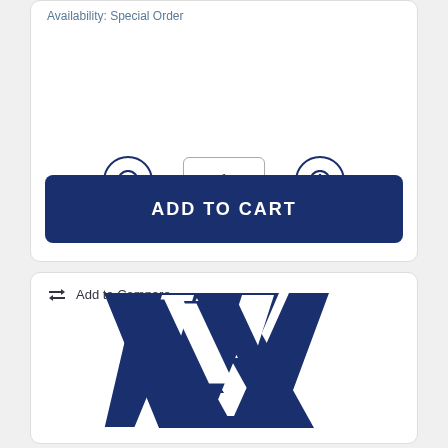Availability: Special Order
1
ADD TO CART
Add to Compare
[Figure (logo): Blue stylized 'W' double-chevron logo]